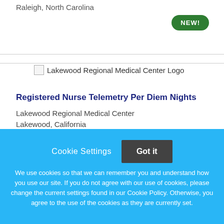Raleigh, North Carolina
[Figure (logo): NEW! badge - green oval with white text]
[Figure (logo): Lakewood Regional Medical Center Logo - small image icon with alt text]
Registered Nurse Telemetry Per Diem Nights
Lakewood Regional Medical Center
Lakewood, California
Cookie Settings  Got it

We use cookies so that we can remember you and understand how you use our site. If you do not agree with our use of cookies, please change the current settings found in our Cookie Policy. Otherwise, you agree to the use of the cookies as they are currently set.